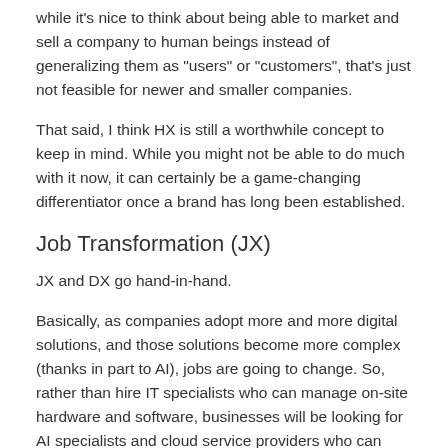while it's nice to think about being able to market and sell a company to human beings instead of generalizing them as "users" or "customers", that's just not feasible for newer and smaller companies.
That said, I think HX is still a worthwhile concept to keep in mind. While you might not be able to do much with it now, it can certainly be a game-changing differentiator once a brand has long been established.
Job Transformation (JX)
JX and DX go hand-in-hand.
Basically, as companies adopt more and more digital solutions, and those solutions become more complex (thanks in part to AI), jobs are going to change. So, rather than hire IT specialists who can manage on-site hardware and software, businesses will be looking for AI specialists and cloud service providers who can help them make the most of their all-digital operation.